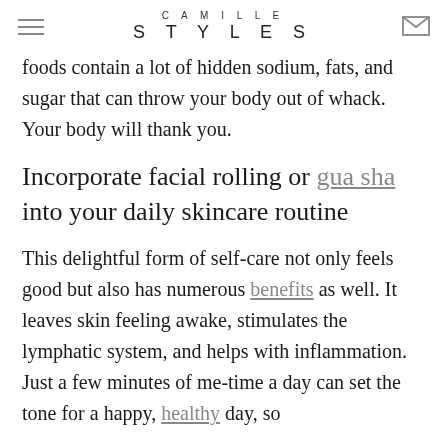CAMILLE STYLES
foods contain a lot of hidden sodium, fats, and sugar that can throw your body out of whack. Your body will thank you.
Incorporate facial rolling or gua sha into your daily skincare routine
This delightful form of self-care not only feels good but also has numerous benefits as well. It leaves skin feeling awake, stimulates the lymphatic system, and helps with inflammation. Just a few minutes of me-time a day can set the tone for a happy, healthy day, so